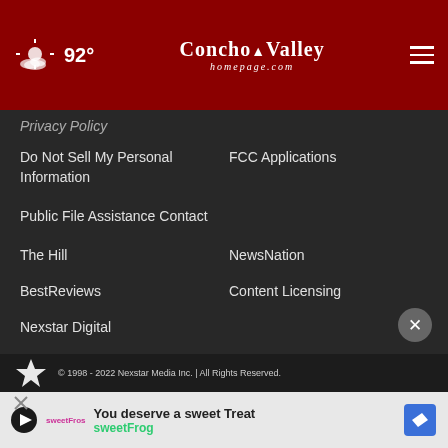92° Concho Valley homepage.com
Privacy Policy
Do Not Sell My Personal Information
FCC Applications
Public File Assistance Contact
The Hill
NewsNation
BestReviews
Content Licensing
Nexstar Digital
© 1998 - 2022 Nexstar Media Inc. | All Rights Reserved.
[Figure (screenshot): Advertisement banner: You deserve a sweet Treat - sweetFrog]